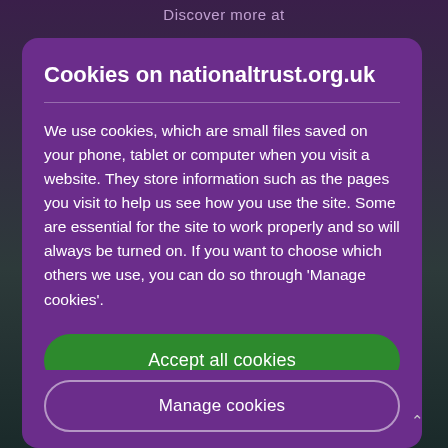Discover more at
Cookies on nationaltrust.org.uk
We use cookies, which are small files saved on your phone, tablet or computer when you visit a website. They store information such as the pages you visit to help us see how you use the site. Some are essential for the site to work properly and so will always be turned on. If you want to choose which others we use, you can do so through 'Manage cookies'.
[Figure (screenshot): Green 'Accept all cookies' button]
[Figure (screenshot): Partially visible 'Manage cookies' button at bottom]